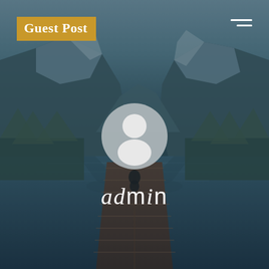[Figure (photo): Scenic mountain lake with a wooden dock pier extending into calm water, mountains in background, person sitting at end of dock; dark teal/blue atmospheric overlay]
Guest Post
admin